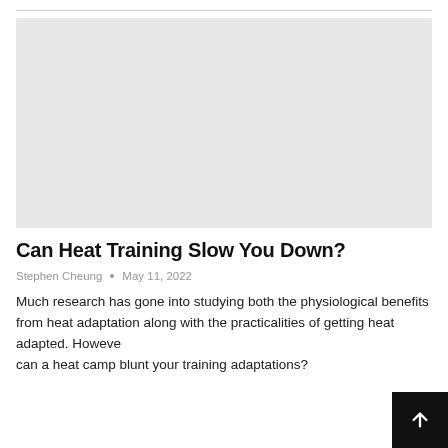[Figure (photo): Large light gray placeholder image at the top of the article]
Can Heat Training Slow You Down?
Stephen Cheung  •  May 11, 2022
Much research has gone into studying both the physiological benefits from heat adaptation along with the practicalities of getting heat adapted. However, can a heat camp blunt your training adaptations?